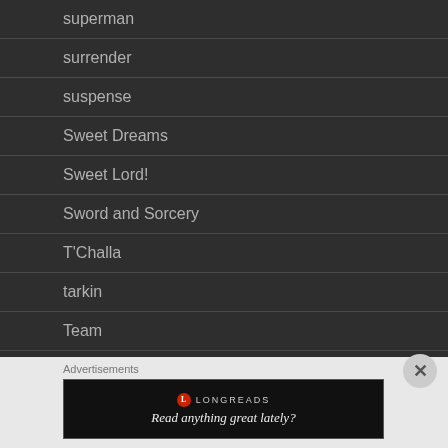superman
surrender
suspense
Sweet Dreams
Sweet Lord!
Sword and Sorcery
T'Challa
tarkin
Team
Advertisements
[Figure (other): Longreads advertisement banner with text 'Read anything great lately?']